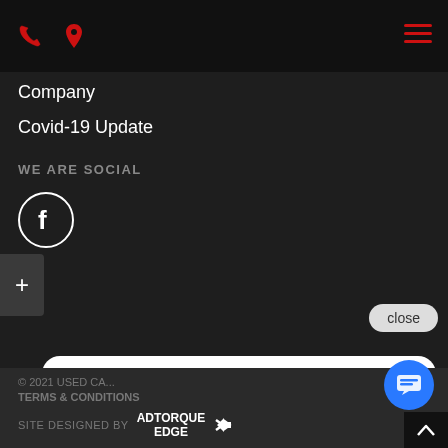[Figure (screenshot): Mobile website navigation bar with red phone icon, red location pin icon, and red hamburger menu icon on dark background]
Company
Covid-19 Update
WE ARE SOCIAL
[Figure (logo): Facebook circular icon with white 'f' on dark background, white circle border]
[Figure (screenshot): Chat popup with close button and message: Hi there, have a question? Text us here.]
© 2021 USED CA...
TERMS & CONDITIONS
SITE DESIGNED BY ADTORQUE EDGE